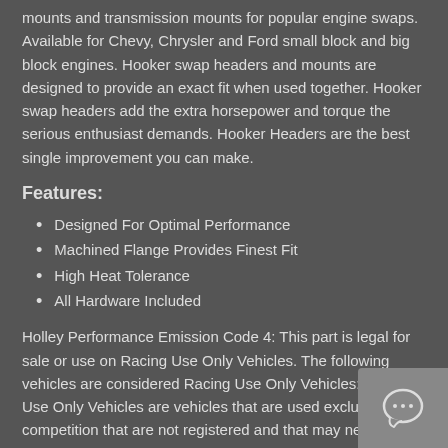mounts and transmission mounts for popular engine swaps. Available for Chevy, Chrysler and Ford small block and big block engines. Hooker swap headers and mounts are designed to provide an exact fit when used together. Hooker swap headers add the extra horsepower and torque the serious enthusiast demands. Hooker Headers are the best single improvement you can make.
Features:
Designed For Optimal Performance
Machined Flange Provides Finest Fit
High Heat Tolerance
All Hardware Included
Holley Performance Emission Code 4: This part is legal for sale or use on Racing Use Only Vehicles. The following vehicles are considered Racing Use Only Vehicles: Racing Use Only Vehicles are vehicles that are used exclusively for competition that are not registered and that may never be used on the street. WARNII is against the law to install this part on an Emissions Control Vehicle